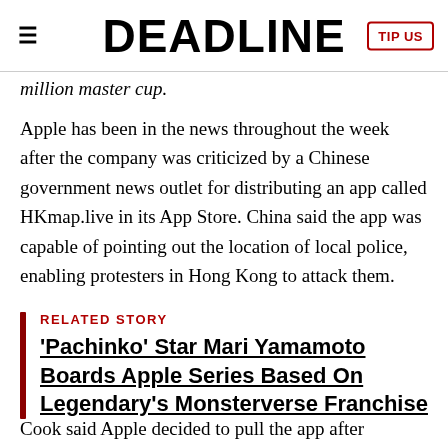DEADLINE
million master cup.
Apple has been in the news throughout the week after the company was criticized by a Chinese government news outlet for distributing an app called HKmap.live in its App Store. China said the app was capable of pointing out the location of local police, enabling protesters in Hong Kong to attack them.
RELATED STORY
'Pachinko' Star Mari Yamamoto Boards Apple Series Based On Legendary's Monsterverse Franchise
Cook said Apple decided to pull the app after consulting with local